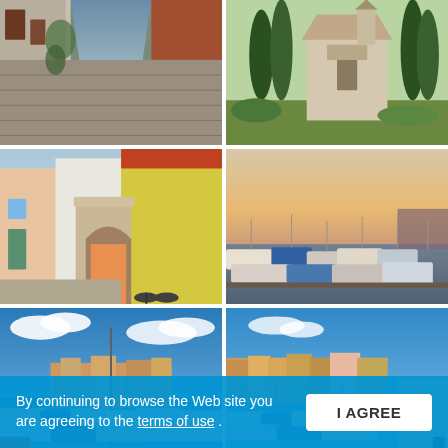[Figure (photo): Narrow cobblestone alley between old stone buildings]
[Figure (photo): Church or cathedral with tall cypress trees]
[Figure (photo): Colorful Mediterranean street with stone archway gate and bicycles]
[Figure (photo): Marina with boats at sunset, coastal town in background]
[Figure (photo): Harbor with boats and colorful waterfront buildings, blue sky with clouds]
[Figure (photo): Marina with boats along wooden boardwalk, colorful town in background]
By continuing to browse the Web site you are agreeing to the terms of use .